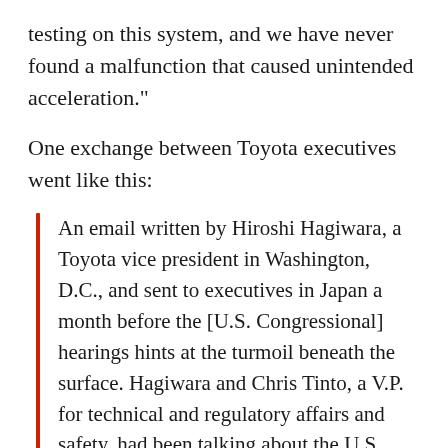testing on this system, and we have never found a malfunction that caused unintended acceleration."
One exchange between Toyota executives went like this:
An email written by Hiroshi Hagiwara, a Toyota vice president in Washington, D.C., and sent to executives in Japan a month before the [U.S. Congressional] hearings hints at the turmoil beneath the surface. Hagiwara and Chris Tinto, a V.P. for technical and regulatory affairs and safety, had been talking about the U.S. investigation and an earlier one in Europe